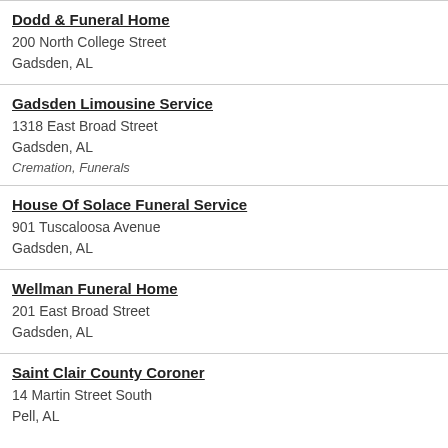Dodd & Funeral Home
200 North College Street
Gadsden, AL
Gadsden Limousine Service
1318 East Broad Street
Gadsden, AL
Cremation, Funerals
House Of Solace Funeral Service
901 Tuscaloosa Avenue
Gadsden, AL
Wellman Funeral Home
201 East Broad Street
Gadsden, AL
Saint Clair County Coroner
14 Martin Street South
Pell, AL